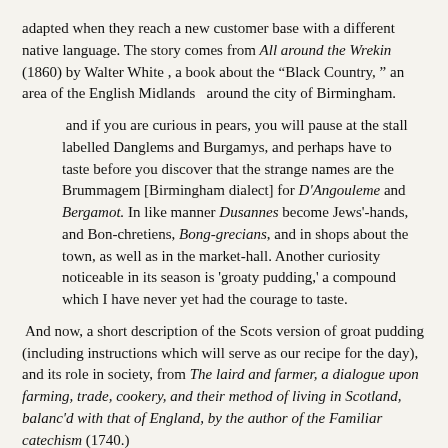adapted when they reach a new customer base with a different native language. The story comes from All around the Wrekin (1860) by Walter White , a book about the “Black Country, ” an area of the English Midlands  around the city of Birmingham.
and if you are curious in pears, you will pause at the stall labelled Danglems and Burgamys, and perhaps have to taste before you discover that the strange names are the Brummagem [Birmingham dialect] for D'Angouleme and Bergamot. In like manner Dusannes become Jews'-hands, and Bon-chretiens, Bong-grecians, and in shops about the town, as well as in the market-hall. Another curiosity noticeable in its season is 'groaty pudding,' a compound which I have never yet had the courage to taste.
And now, a short description of the Scots version of groat pudding (including instructions which will serve as our recipe for the day), and its role in society, from The laird and farmer, a dialogue upon farming, trade, cookery, and their method of living in Scotland, balanc'd with that of England, by the author of the Familiar catechism (1740.)